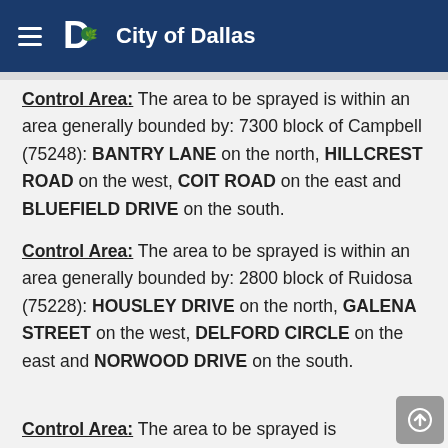City of Dallas
Control Area: The area to be sprayed is within an area generally bounded by: 7300 block of Campbell (75248): BANTRY LANE on the north, HILLCREST ROAD on the west, COIT ROAD on the east and BLUEFIELD DRIVE on the south.
Control Area: The area to be sprayed is within an area generally bounded by: 2800 block of Ruidosa (75228): HOUSLEY DRIVE on the north, GALENA STREET on the west, DELFORD CIRCLE on the east and NORWOOD DRIVE on the south.
Control Area: The area to be sprayed is within